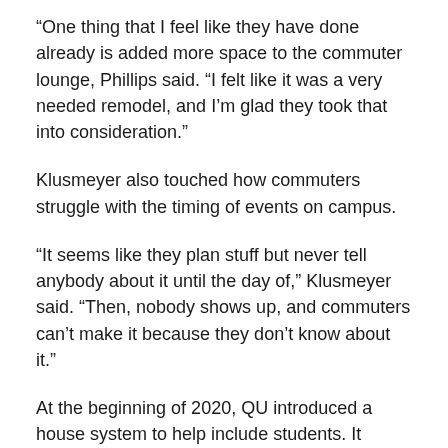“One thing that I feel like they have done already is added more space to the commuter lounge, Phillips said. “I felt like it was a very needed remodel, and I’m glad they took that into consideration.”
Klusmeyer also touched how commuters struggle with the timing of events on campus.
“It seems like they plan stuff but never tell anybody about it until the day of,” Klusmeyer said. “Then, nobody shows up, and commuters can’t make it because they don’t know about it.”
At the beginning of 2020, QU introduced a house system to help include students. It includes new students, commuters, and transfer students. Undergrads are expected to be assigned to a house by 2023, and will remain a member of that house